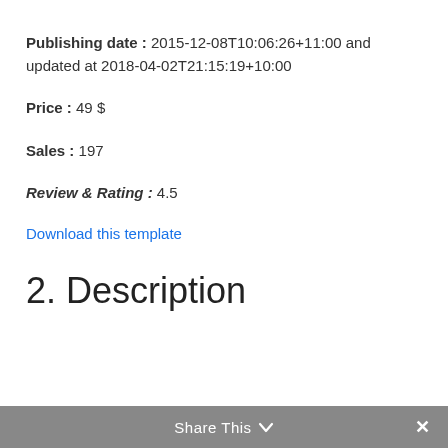Publishing date : 2015-12-08T10:06:26+11:00 and updated at 2018-04-02T21:15:19+10:00
Price : 49 $
Sales : 197
Review & Rating : 4.5
Download this template
2. Description
Share This ∨  ✕